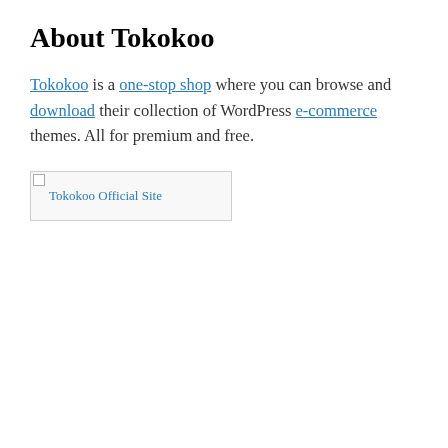About Tokokoo
Tokokoo is a one-stop shop where you can browse and download their collection of WordPress e-commerce themes. All for premium and free.
[Figure (illustration): Broken image placeholder for Tokokoo Official Site link with alt text visible]
Privacidad y cookies: este sitio utiliza cookies. Al continuar utilizando esta web, aceptas su uso.
Para obtener más información, incluido cómo controlar las cookies, consulta aquí: Política de cookies
Cerrar y aceptar